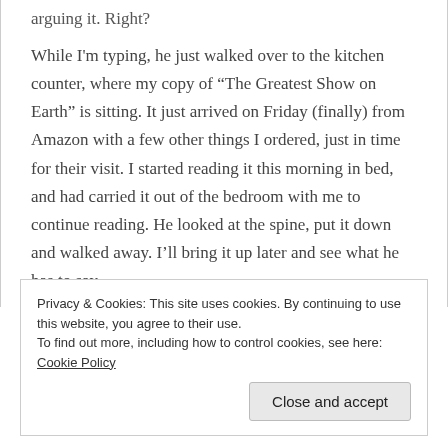arguing it. Right?
While I'm typing, he just walked over to the kitchen counter, where my copy of “The Greatest Show on Earth” is sitting. It just arrived on Friday (finally) from Amazon with a few other things I ordered, just in time for their visit. I started reading it this morning in bed, and had carried it out of the bedroom with me to continue reading. He looked at the spine, put it down and walked away. I’ll bring it up later and see what he has to say.
Privacy & Cookies: This site uses cookies. By continuing to use this website, you agree to their use.
To find out more, including how to control cookies, see here: Cookie Policy
Close and accept